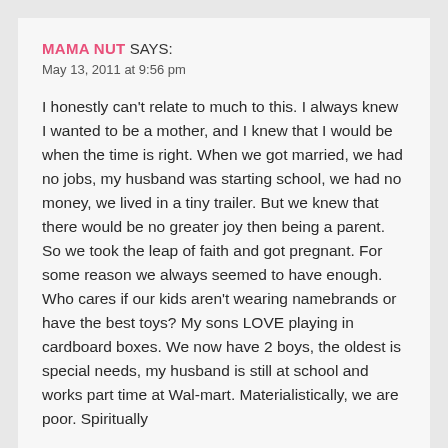MAMA NUT SAYS:
May 13, 2011 at 9:56 pm
I honestly can't relate to much to this. I always knew I wanted to be a mother, and I knew that I would be when the time is right. When we got married, we had no jobs, my husband was starting school, we had no money, we lived in a tiny trailer. But we knew that there would be no greater joy then being a parent. So we took the leap of faith and got pregnant. For some reason we always seemed to have enough. Who cares if our kids aren't wearing namebrands or have the best toys? My sons LOVE playing in cardboard boxes. We now have 2 boys, the oldest is special needs, my husband is still at school and works part time at Wal-mart. Materialistically, we are poor. Spiritually